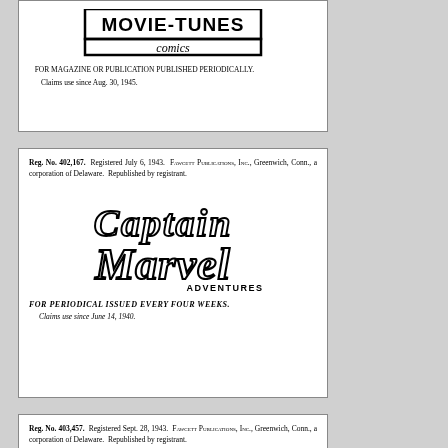[Figure (logo): Movie Tunes Comics logo — bold block letters with 'comics' in italic script below]
FOR MAGAZINE OR PUBLICATION PUBLISHED PERIODICALLY. Claims use since Aug. 30, 1945.
Reg. No. 402,167. Registered July 6, 1943. Fawcett Publications, Inc., Greenwich, Conn., a corporation of Delaware. Republished by registrant.
[Figure (logo): Captain Marvel Adventures logo in stylized script lettering with 'ADVENTURES' in smaller caps]
FOR PERIODICAL ISSUED EVERY FOUR WEEKS. Claims use since June 14, 1940.
Reg. No. 403,457. Registered Sept. 28, 1943. Fawcett Publications, Inc., Greenwich, Conn., a corporation of Delaware. Republished by registrant.
[Figure (logo): Captain Marvel (partial) logo in stylized script lettering — bottom portion cut off]